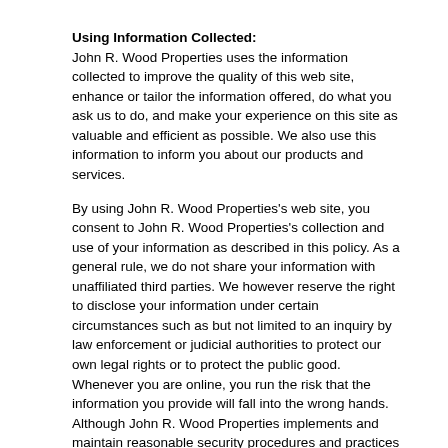Using Information Collected:
John R. Wood Properties uses the information collected to improve the quality of this web site, enhance or tailor the information offered, do what you ask us to do, and make your experience on this site as valuable and efficient as possible. We also use this information to inform you about our products and services.
By using John R. Wood Properties's web site, you consent to John R. Wood Properties's collection and use of your information as described in this policy. As a general rule, we do not share your information with unaffiliated third parties. We however reserve the right to disclose your information under certain circumstances such as but not limited to an inquiry by law enforcement or judicial authorities to protect our own legal rights or to protect the public good. Whenever you are online, you run the risk that the information you provide will fall into the wrong hands. Although John R. Wood Properties implements and maintain reasonable security procedures and practices to safeguard your privacy, John R. Wood Properties cannot guarantee the security of any information you provide us. John R. Wood Properties nor anyone associated with this website accept no responsibility or liability for the activities of third parties.
Your Access to and Control Over Information
You may opt out of any future contacts from us at any time. You can do the following at any time by contacting us via the email address or phone number given on our website: